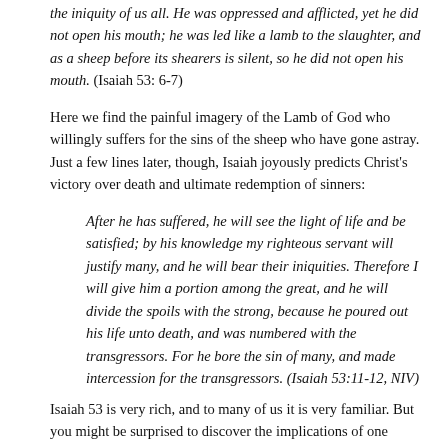the iniquity of us all. He was oppressed and afflicted, yet he did not open his mouth; he was led like a lamb to the slaughter, and as a sheep before its shearers is silent, so he did not open his mouth. (Isaiah 53: 6-7)
Here we find the painful imagery of the Lamb of God who willingly suffers for the sins of the sheep who have gone astray. Just a few lines later, though, Isaiah joyously predicts Christ's victory over death and ultimate redemption of sinners:
After he has suffered, he will see the light of life and be satisfied; by his knowledge my righteous servant will justify many, and he will bear their iniquities. Therefore I will give him a portion among the great, and he will divide the spoils with the strong, because he poured out his life unto death, and was numbered with the transgressors. For he bore the sin of many, and made intercession for the transgressors. (Isaiah 53:11-12, NIV)
Isaiah 53 is very rich, and to many of us it is very familiar. But you might be surprised to discover the implications of one